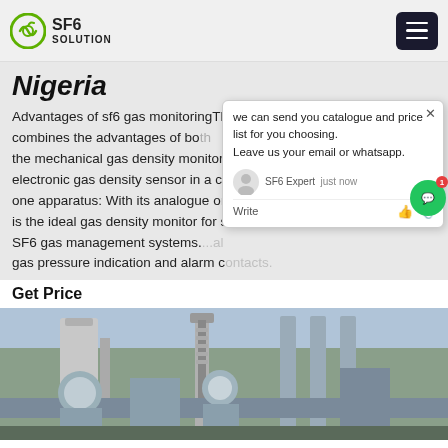SF6 SOLUTION
Nigeria
Advantages of sf6 gas monitoringThe Hybrid Gas Density Monitor combines the advantages of both the mechanical gas density monitor and the electronic gas density sensor in a combination one apparatus: With its analogue or digital, it is the ideal gas density monitor for SF6 gas management systems. ...al gas pressure indication and alarm contacts.
Get Price
[Figure (photo): Outdoor electrical substation with SF6 gas insulated switchgear and high-voltage equipment, transformer columns and pipes visible]